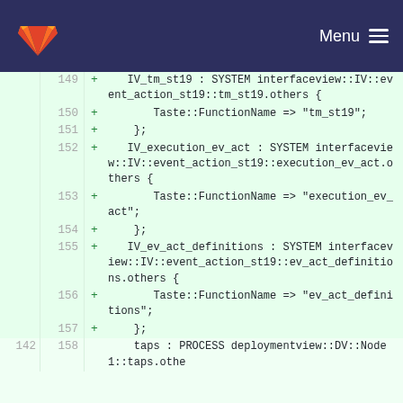[Figure (screenshot): GitLab navigation bar with orange fox logo and Menu hamburger icon on dark blue background]
Code diff view showing lines 149-158 of a file with added lines (+) containing AADL/TASTE interface view component definitions including IV_tm_st19, IV_execution_ev_act, IV_ev_act_definitions SYSTEM components and taps PROCESS component
| old_line | new_line | marker | code |
| --- | --- | --- | --- |
|  | 149 | + |    IV_tm_st19 : SYSTEM interfaceview::IV::event_action_st19::tm_st19.others { |
|  | 150 | + |        Taste::FunctionName => "tm_st19"; |
|  | 151 | + |     }; |
|  | 152 | + |    IV_execution_ev_act : SYSTEM interfaceview::IV::event_action_st19::execution_ev_act.others { |
|  | 153 | + |        Taste::FunctionName => "execution_ev_act"; |
|  | 154 | + |     }; |
|  | 155 | + |    IV_ev_act_definitions : SYSTEM interfaceview::IV::event_action_st19::ev_act_definitions.others { |
|  | 156 | + |        Taste::FunctionName => "ev_act_definitions"; |
|  | 157 | + |     }; |
| 142 | 158 |  |     taps : PROCESS deploymentview::DV::Node1::taps.othe |